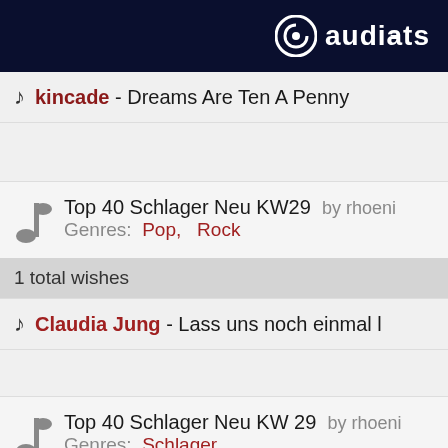audiats logo
kincade - Dreams Are Ten A Penny
Top 40 Schlager Neu KW29 by rhoeni
Genres: Pop, Rock
1 total wishes
Claudia Jung - Lass uns noch einmal l
Top 40 Schlager Neu KW 29 by rhoeni
Genres: Schlager
1 total wishes
Claudia Jung - Lass uns noch einmal l